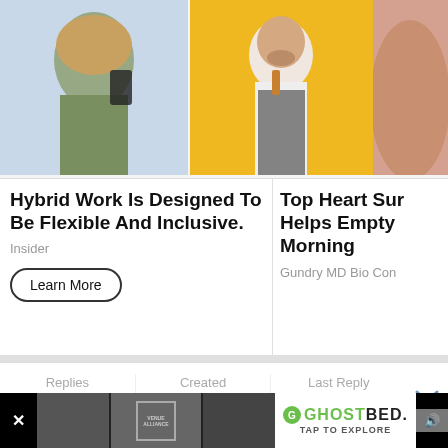[Figure (screenshot): Ad card showing two advertisements side by side. Left ad: woman holding phone on blue background and man in apron writing on yellow background. Right ad: skin/body on peach background. Below images: left ad title 'Hybrid Work Is Designed To Be Flexible And Inclusive.' with source 'Insider' and 'Learn More' button. Right ad title 'Top Heart Sur Helps Empty Morning' with source 'Gundry MD Bio Con'.]
Hybrid Work Is Designed To Be Flexible And Inclusive.
Insider
Learn More
Top Heart Sur Helps Empty Morning
Gundry MD Bio Con
Replies
161
Created
9 yr
Last Reply
9 yr
questionmark
Posted September 25, 2012
#27
[Figure (screenshot): Bottom advertisement banner for GhostBed with text 'TAP TO EXPLORE' and volume icon. Also shows blurred images and a QR code.]